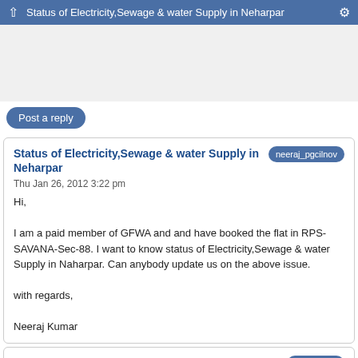Status of Electricity,Sewage & water Supply in Neharpar
[Figure (other): Advertisement area (blank/grey)]
Post a reply
Status of Electricity,Sewage & water Supply in Neharpar
Thu Jan 26, 2012 3:22 pm
Hi,

I am a paid member of GFWA and and have booked the flat in RPS-SAVANA-Sec-88. I want to know status of Electricity,Sewage & water Supply in Naharpar. Can anybody update us on the above issue.

with regards,

Neeraj Kumar
Minuts of Meeting with Executive Engineer, HUDA on 25-Jan-12
Thu Jan 26, 2012 6:10 pm